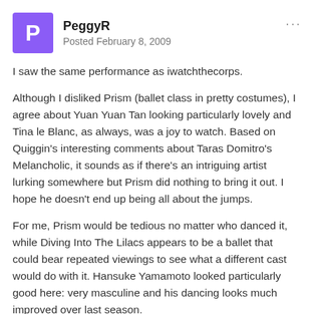PeggyR — Posted February 8, 2009
I saw the same performance as iwatchthecorps.
Although I disliked Prism (ballet class in pretty costumes), I agree about Yuan Yuan Tan looking particularly lovely and Tina le Blanc, as always, was a joy to watch. Based on Quiggin's interesting comments about Taras Domitro's Melancholic, it sounds as if there's an intriguing artist lurking somewhere but Prism did nothing to bring it out. I hope he doesn't end up being all about the jumps.
For me, Prism would be tedious no matter who danced it, while Diving Into The Lilacs appears to be a ballet that could bear repeated viewings to see what a different cast would do with it. Hansuke Yamamoto looked particularly good here: very masculine and his dancing looks much improved over last season.
Like iwatchthecorps, I was here mainly to see 4Ts, and I also had some issues with SFB's performance. Since I haven't been lucky enough to see MCB's version, my only basis for comparison is the Choreography by Balanchine DVD. The video version, frankly, gives